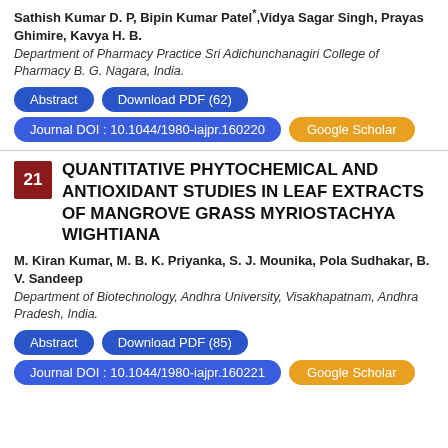Sathish Kumar D. P, Bipin Kumar Patel, Vidya Sagar Singh, Prayas Ghimire, Kavya H. B.
Department of Pharmacy Practice Sri Adichunchanagiri College of Pharmacy B. G. Nagara, India.
Abstract | Download PDF (62)
Journal DOI : 10.1044/1980-iajpr.160220 | Google Scholar
QUANTITATIVE PHYTOCHEMICAL AND ANTIOXIDANT STUDIES IN LEAF EXTRACTS OF MANGROVE GRASS MYRIOSTACHYA WIGHTIANA
M. Kiran Kumar, M. B. K. Priyanka, S. J. Mounika, Pola Sudhakar, B. V. Sandeep
Department of Biotechnology, Andhra University, Visakhapatnam, Andhra Pradesh, India.
Abstract | Download PDF (85)
Journal DOI : 10.1044/1980-iajpr.160221 | Google Scholar